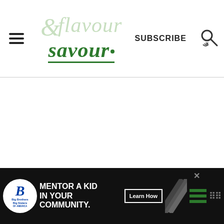& flavour savour — SUBSCRIBE
[Figure (screenshot): Empty white main content area of the Flavour & Savour food blog website]
[Figure (infographic): Big Brothers Big Sisters of America advertisement banner: MENTOR A KID IN YOUR COMMUNITY. Learn How button.]